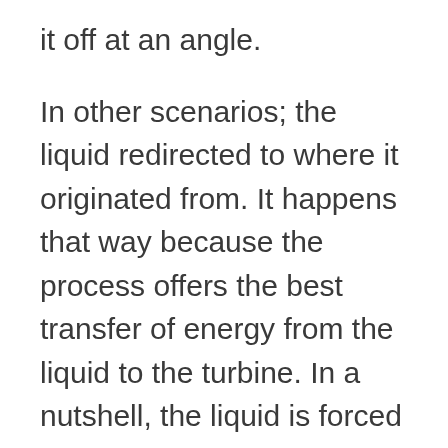it off at an angle.
In other scenarios; the liquid redirected to where it originated from. It happens that way because the process offers the best transfer of energy from the liquid to the turbine. In a nutshell, the liquid is forced to strike the turbine at supersonic speeds. Those constant energy impulses are the fundamentals of the working of